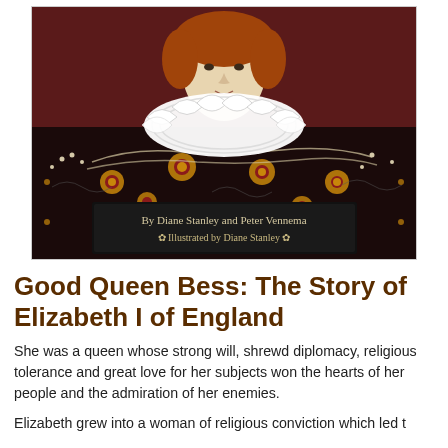[Figure (illustration): Book cover of 'Good Queen Bess: The Story of Elizabeth I of England'. Portrait painting of Queen Elizabeth I wearing an elaborate white ruff collar and ornate jeweled dark dress. Text overlay on dark banner reads: 'By Diane Stanley and Peter Vennema / Illustrated by Diane Stanley'.]
Good Queen Bess: The Story of Elizabeth I of England
She was a queen whose strong will, shrewd diplomacy, religious tolerance and great love for her subjects won the hearts of her people and the admiration of her enemies.
Elizabeth grew into a woman of religious conviction which led t...